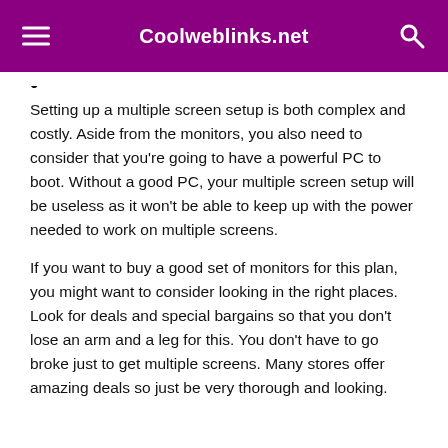Coolweblinks.net
Setting up a multiple screen setup is both complex and costly. Aside from the monitors, you also need to consider that you're going to have a powerful PC to boot. Without a good PC, your multiple screen setup will be useless as it won't be able to keep up with the power needed to work on multiple screens.
If you want to buy a good set of monitors for this plan, you might want to consider looking in the right places. Look for deals and special bargains so that you don't lose an arm and a leg for this. You don't have to go broke just to get multiple screens. Many stores offer amazing deals so just be very thorough and looking.